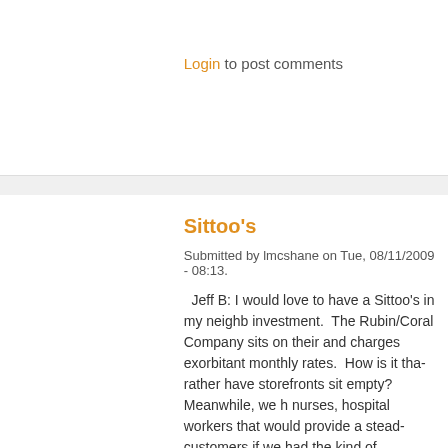Login to post comments
Sittoo's
Submitted by lmcshane on Tue, 08/11/2009 - 08:13.
Jeff B: I would love to have a Sittoo's in my neighborhood investment. The Rubin/Coral Company sits on their and charges exorbitant monthly rates. How is it that rather have storefronts sit empty? Meanwhile, we have nurses, hospital workers that would provide a steady customers if we had the kind of restaurant choice available in Tremont.
I have worked on Mike and Jeff over at Bodega. I would see an eatery/tea house in the old greenhouse space. You would also have office workers from the wonderful building next door.
Brooklyn Centre has McDonalds, Subway, Wendy's